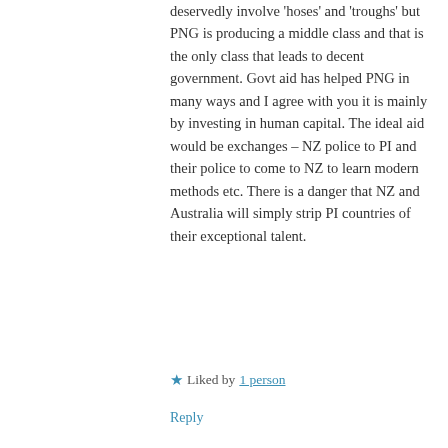deservedly involve 'hoses' and 'troughs' but PNG is producing a middle class and that is the only class that leads to decent government. Govt aid has helped PNG in many ways and I agree with you it is mainly by investing in human capital. The ideal aid would be exchanges – NZ police to PI and their police to come to NZ to learn modern methods etc. There is a danger that NZ and Australia will simply strip PI countries of their exceptional talent.
Liked by 1 person
Reply